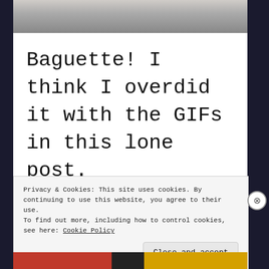[Figure (photo): Partial view of a person, cropped photo strip at the top of the page]
Baguette! I think I overdid it with the GIFs in this lone post.
Privacy & Cookies: This site uses cookies. By continuing to use this website, you agree to their use.
To find out more, including how to control cookies, see here: Cookie Policy
Close and accept
[Figure (photo): Partial view of bottom content strip with orange/red/dark colored sections]